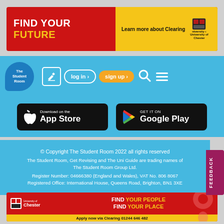[Figure (infographic): Red banner advertisement: FIND YOUR FUTURE with Learn more about Clearing button and University of Chester logo]
[Figure (screenshot): The Student Room navigation bar with logo, edit icon, log in, sign up, search, and menu buttons on blue background]
[Figure (infographic): App store download buttons: Download on the App Store and Get it on Google Play on blue background]
© Copyright The Student Room 2022 all rights reserved
The Student Room, Get Revising and The Uni Guide are trading names of The Student Room Group Ltd.
Register Number: 04666380 (England and Wales), VAT No. 806 8067
Registered Office: International House, Queens Road, Brighton, BN1 3XE
[Figure (infographic): University of Chester advertisement: FIND YOUR PEOPLE FIND YOUR PLACE with Apply now via Clearing 01244 646 482]